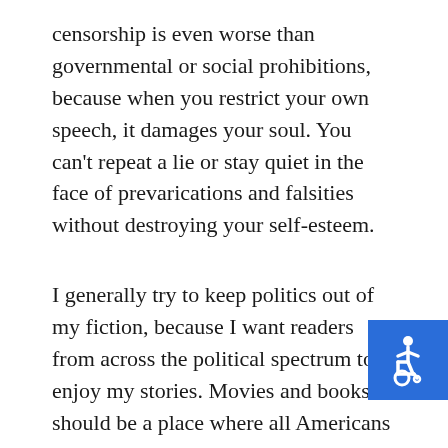censorship is even worse than governmental or social prohibitions, because when you restrict your own speech, it damages your soul. You can't repeat a lie or stay quiet in the face of prevarications and falsities without destroying your self-esteem.
I generally try to keep politics out of my fiction, because I want readers from across the political spectrum to enjoy my stories. Movies and books should be a place where all Americans can come together and around common human emotions and experience, but even that has become polarized
I discussed the politics of radical Islam in Unseen because I depicted how it infiltrated the United Sta...
[Figure (illustration): Blue square accessibility icon showing a person in a wheelchair, white on blue background, positioned in the bottom right corner]